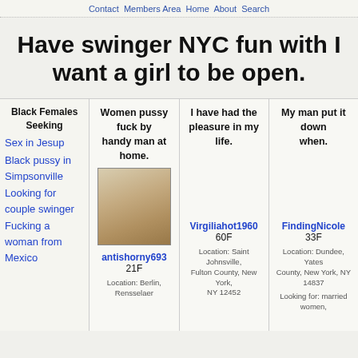Contact Members Area Home About Search
Have swinger NYC fun with I want a girl to be open.
Black Females Seeking
Sex in Jesup
Black pussy in Simpsonville
Looking for couple swinger
Fucking a woman from Mexico
Women pussy fuck by handy man at home.
antishorny693 21F
Location: Berlin, Rensselaer
I have had the pleasure in my life.
Virgiliahot1960 60F
Location: Saint Johnsville, Fulton County, New York, NY 12452
My man put it down when.
FindingNicole 33F
Location: Dundee, Yates County, New York, NY 14837
Looking for: married women,